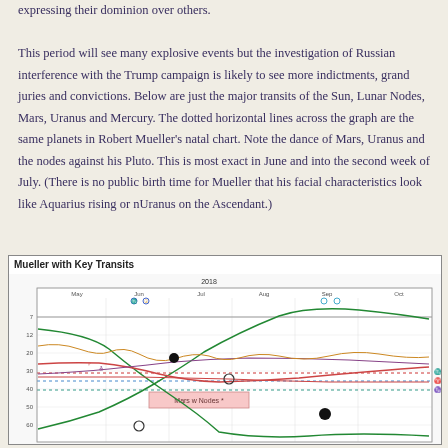expressing their dominion over others.

This period will see many explosive events but the investigation of Russian interference with the Trump campaign is likely to see more indictments, grand juries and convictions. Below are just the major transits of the Sun, Lunar Nodes, Mars, Uranus and Mercury. The dotted horizontal lines across the graph are the same planets in Robert Mueller's natal chart. Note the dance of Mars, Uranus and the nodes against his Pluto. This is most exact in June and into the second week of July. (There is no public birth time for Mueller that his facial characteristics look like Aquarius rising or nUranus on the Ascendant.)
[Figure (other): Astrological transit graph titled 'Mueller with Key Transits' showing planetary positions over time from May to October 2018. Contains curved lines representing transits of Sun, Lunar Nodes, Mars, Uranus and Mercury, with dotted horizontal reference lines for Mueller's natal chart planets. A pink shaded box labeled 'Mars w Nodes' is visible in the lower portion of the chart.]